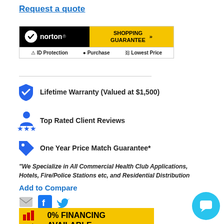Request a quote
[Figure (logo): Norton Shopping Guarantee badge with ID Protection, Purchase, and Lowest Price icons]
Lifetime Warranty (Valued at $1,500)
Top Rated Client Reviews
One Year Price Match Guarantee*
"We Specialize in All Commercial Health Club Applications, Hotels, Fire/Police Stations etc, and Residential Distribution
Add to Compare
[Figure (infographic): Social sharing icons: email, Facebook, Twitter]
[Figure (infographic): Synchrony Financial 0% Financing Available - Apply Now and Be Approved - Click Here button]
[Figure (infographic): Blue chat bubble circle icon in bottom right]